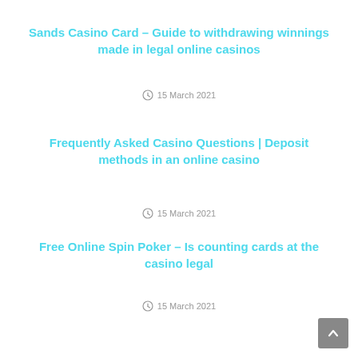Sands Casino Card – Guide to withdrawing winnings made in legal online casinos
15 March 2021
Frequently Asked Casino Questions | Deposit methods in an online casino
15 March 2021
Free Online Spin Poker – Is counting cards at the casino legal
15 March 2021